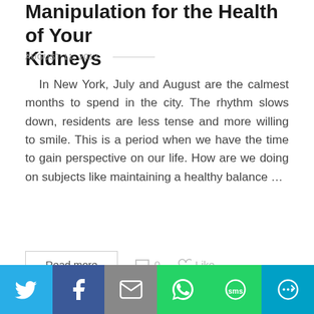Manipulation for the Health of Your Kidneys
AUGUST 11, 2013
In New York, July and August are the calmest months to spend in the city. The rhythm slows down, residents are less tense and more willing to smile. This is a period when we have the time to gain perspective on our life. How are we doing on subjects like maintaining a healthy balance ...
Read more
0
Like
[Figure (screenshot): Social sharing bar with Twitter, Facebook, Email, WhatsApp, SMS, and More buttons]